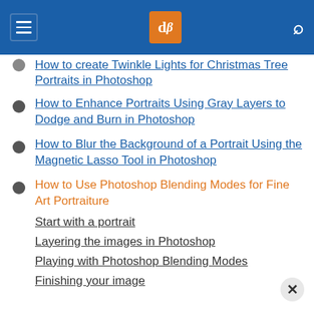dPS navigation menu
How to Create Twinkle Lights for Christmas Tree Portraits in Photoshop
How to Enhance Portraits Using Gray Layers to Dodge and Burn in Photoshop
How to Blur the Background of a Portrait Using the Magnetic Lasso Tool in Photoshop
How to Use Photoshop Blending Modes for Fine Art Portraiture
Start with a portrait
Layering the images in Photoshop
Playing with Photoshop Blending Modes
Finishing your image